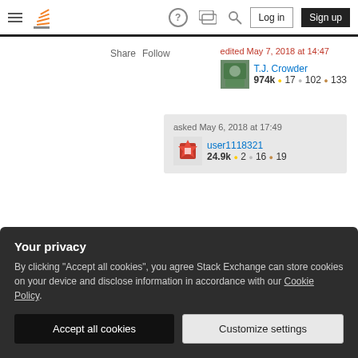Stack Overflow navigation bar with Log in and Sign up buttons
Share  Follow
edited May 7, 2018 at 14:47
T.J. Crowder
974k • 17 • 102 • 133
asked May 6, 2018 at 17:49
user1118321
24.9k • 2 • 16 • 19
76  Nothing can be done. Another deadbeat. Irelevant code in Q, GH link: Down/close/next, that's it.
– Martin James  May 6, 2018 at 17:54
Your privacy
By clicking "Accept all cookies", you agree Stack Exchange can store cookies on your device and disclose information in accordance with our Cookie Policy.
Accept all cookies
Customize settings